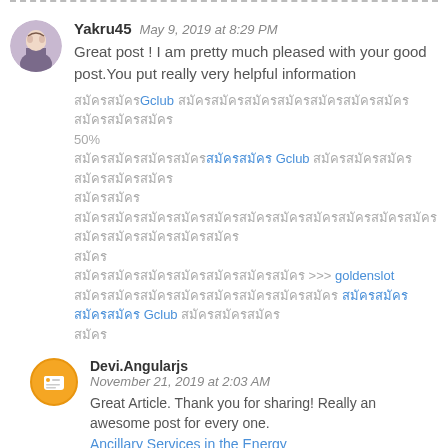Yakru45   May 9, 2019 at 8:29 PM
Great post ! I am pretty much pleased with your good post.You put really very helpful information
สมัครGclub โปรโมชั่นสมาชิกใหม่รับโบนัส 50%
สมัครสมาชิกGoldenslot Gclub คาสิโนออนไลน์ที่ดีที่สุด
เล่นคาสิโนออนไลน์บนมือถือพร้อมรับโบนัสพิเศษได้เลย
สมัครสมาชิกได้เลย >>> goldenslot
หากต้องการสอบถามสมัครสมาชิก Gclub คลิกเลย
Devi.Angularjs   November 21, 2019 at 2:03 AM
Great Article. Thank you for sharing! Really an awesome post for every one.
Ancillary Services in the Energy